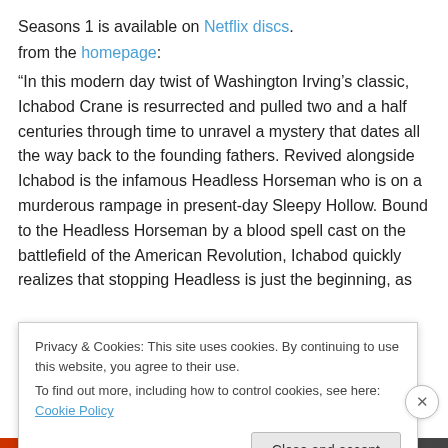Seasons 1 is available on Netflix discs.
from the homepage:
“In this modern day twist of Washington Irving’s classic, Ichabod Crane is resurrected and pulled two and a half centuries through time to unravel a mystery that dates all the way back to the founding fathers. Revived alongside Ichabod is the infamous Headless Horseman who is on a murderous rampage in present-day Sleepy Hollow. Bound to the Headless Horseman by a blood spell cast on the battlefield of the American Revolution, Ichabod quickly realizes that stopping Headless is just the beginning, as
Privacy & Cookies: This site uses cookies. By continuing to use this website, you agree to their use. To find out more, including how to control cookies, see here: Cookie Policy
Close and accept